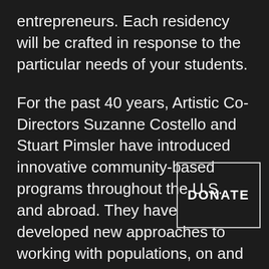entrepreneurs. Each residency will be crafted in response to the particular needs of your students.
For the past 40 years, Artistic Co-Directors Suzanne Costello and Stuart Pimsler have introduced innovative community-based programs throughout the U.S. and abroad. They have developed new approaches to working with populations, on and off the st… expanding the realm of creative entrepreneurship. SPDT's Community Connections programs have been cited
[Figure (other): A DONATE button enclosed in a rectangular border, white text on dark background]